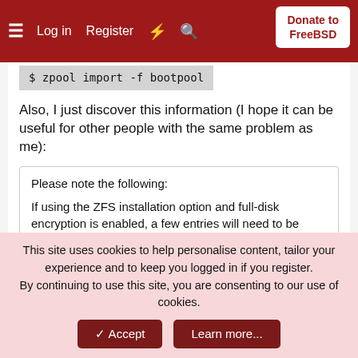Log in  Register  Donate to FreeBSD
$ zpool import -f bootpool
Also, I just discover this information (I hope it can be useful for other people with the same problem as me):
Please note the following:

If using the ZFS installation option and full-disk encryption is enabled, a few entries will need to be manually added to loader.conf(5) before the 'bootpool' zpool will be available after the system boots. This manual step is expected to be fixed in the next 10.0 release cycle build.

Click to expand...
This site uses cookies to help personalise content, tailor your experience and to keep you logged in if you register.
By continuing to use this site, you are consenting to our use of cookies.